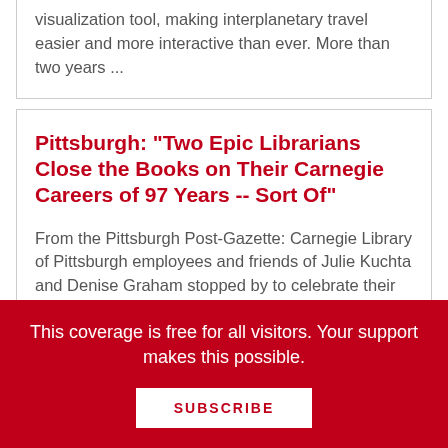visualization tool, making interplanetary travel easier and more interactive than ever. More than two years ...
Pittsburgh: "Two Epic Librarians Close the Books on Their Carnegie Careers of 97 Years -- Sort Of"
From the Pittsburgh Post-Gazette: Carnegie Library of Pittsburgh employees and friends of Julie Kuchta and Denise Graham stopped by to celebrate their long careers, reminisce a bit and wish them ...
This coverage is free for all visitors. Your support makes this possible.
SUBSCRIBE